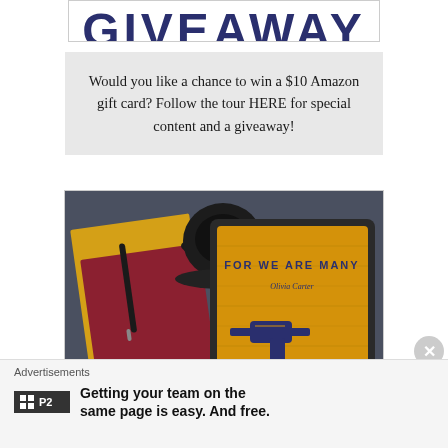[Figure (illustration): Cropped top portion of a 'GIVEAWAY' banner in large bold dark blue text on white background]
Would you like a chance to win a $10 Amazon gift card? Follow the tour HERE for special content and a giveaway!
[Figure (photo): Flatlay photo showing a tablet displaying the book cover 'FOR WE ARE MANY' with yellow/gold wood-grain background and illustrated gun graphic, next to notebooks in yellow and red with a black pen, and a black coffee cup on a dark gray surface]
Advertisements
Getting your team on the same page is easy. And free.